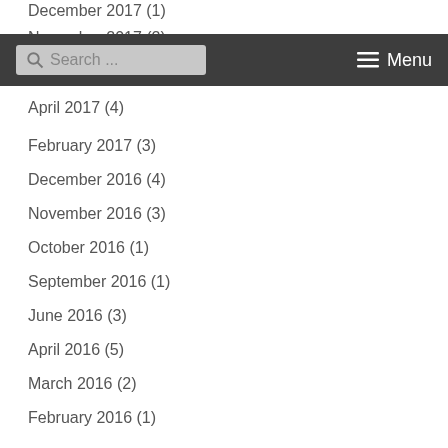December 2017 (1)
November 2017 (2)
[Figure (screenshot): Dark navigation bar with search box and menu button]
April 2017 (4)
February 2017 (3)
December 2016 (4)
November 2016 (3)
October 2016 (1)
September 2016 (1)
June 2016 (3)
April 2016 (5)
March 2016 (2)
February 2016 (1)
January 2016 (3)
December 2015 (6)
November 2015 (12)
October 2015 (2)
September 2015 (2)